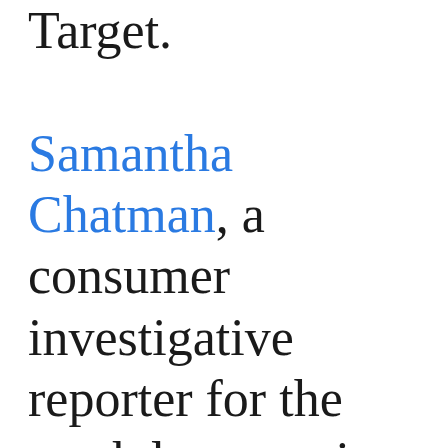Target. Samantha Chatman, a consumer investigative reporter for the weekday morning newscasts on WLS-TV in Chicago.